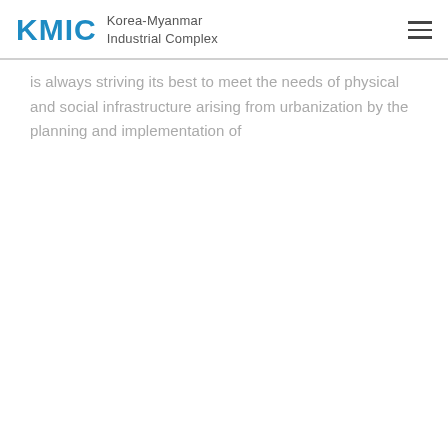KMIC Korea-Myanmar Industrial Complex
is always striving its best to meet the needs of physical and social infrastructure arising from urbanization by the planning and implementation of